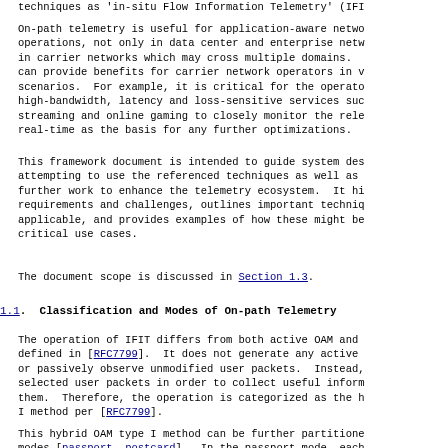techniques as  'in-situ Flow Information Telemetry' (IFI
On-path telemetry is useful for application-aware netwo operations, not only in data center and enterprise netw in carrier networks which may cross multiple domains. can provide benefits for carrier network operators in v scenarios.  For example, it is critical for the operato high-bandwidth, latency and loss-sensitive services suc streaming and online gaming to closely monitor the rele real-time as the basis for any further optimizations.
This framework document is intended to guide system des attempting to use the referenced techniques as well as further work to enhance the telemetry ecosystem.  It hi requirements and challenges, outlines important techniq applicable, and provides examples of how these might be critical use cases.
The document scope is discussed in Section 1.3.
1.1.  Classification and Modes of On-path Telemetry
The operation of IFIT differs from both active OAM and defined in [RFC7799].  It does not generate any active or passively observe unmodified user packets.  Instead, selected user packets in order to collect useful inform them.  Therefore, the operation is categorized as the h I method per [RFC7799].
This hybrid OAM type I method can be further partitione modes [passport, postcard].  In the passport mode, each